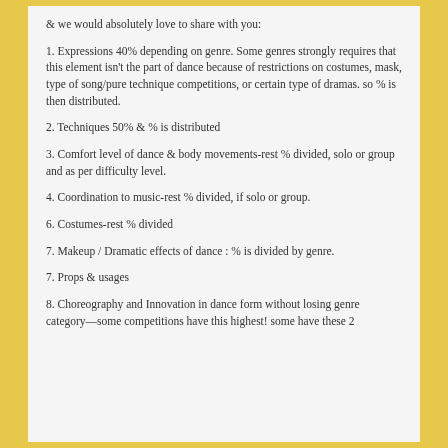& we would absolutely love to share with you:
1. Expressions 40% depending on genre. Some genres strongly requires that this element isn’t the part of dance because of restrictions on costumes, mask, type of song/pure technique competitions, or certain type of dramas. so % is then distributed.
2. Techniques 50% & % is distributed
3. Comfort level of dance & body movements-rest % divided, solo or group and as per difficulty level.
4. Coordination to music-rest % divided, if solo or group.
6. Costumes-rest % divided
7. Makeup / Dramatic effects of dance : % is divided by genre.
7. Props & usages
8. Choreography and Innovation in dance form without losing genre category—some competitions have this highest! some have these 2